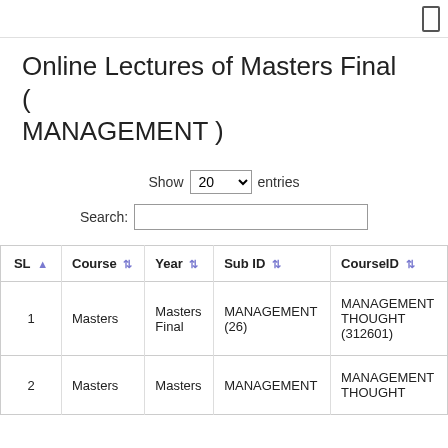Online Lectures of Masters Final ( MANAGEMENT )
Show 20 entries
Search:
| SL | Course | Year | Sub ID | CourseID |
| --- | --- | --- | --- | --- |
| 1 | Masters | Masters Final | MANAGEMENT (26) | MANAGEMENT THOUGHT (312601) |
| 2 | Masters | Masters | MANAGEMENT | MANAGEMENT THOUGHT |